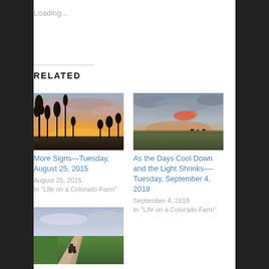Loading...
RELATED
[Figure (photo): Sunset silhouette of plants/trees against colorful orange and pink sky]
More Signs—Tuesday, August 25, 2015
August 25, 2015
In "Life on a Colorado Farm"
[Figure (photo): Wide open field at dusk with red-orange clouds and flat plains landscape]
As the Days Cool Down and the Light Shrinks—-Tuesday, September 4, 2018
September 4, 2018
In "Life on a Colorado Farm"
[Figure (photo): Farm field with dirt road and tractor, green crops visible]